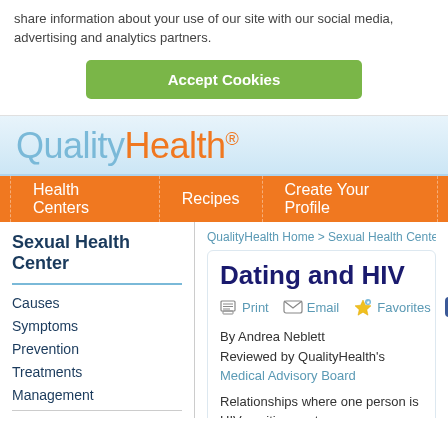share information about your use of our site with our social media, advertising and analytics partners.
Accept Cookies
QualityHealth®
Health Centers | Recipes | Create Your Profile
Sexual Health Center
Causes
Symptoms
Prevention
Treatments
Management
Romance
QualityHealth Home > Sexual Health Center > Da...
Dating and HIV
Print  Email  Favorites
By Andrea Neblett
Reviewed by QualityHealth's Medical Advisory Board
Relationships where one person is HIV-positive a... to as serodiscordant relationships. If you're in a se...